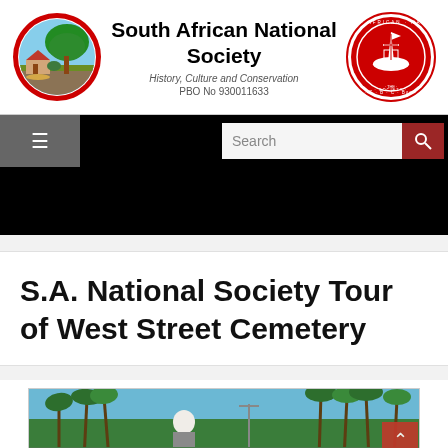South African National Society — History, Culture and Conservation — PBO No 930011633
S.A. National Society Tour of West Street Cemetery
[Figure (photo): Outdoor photo showing people standing among palm trees and green foliage, likely at a cemetery or park setting with blue sky visible]